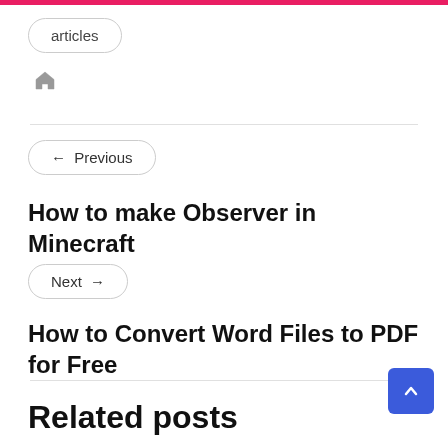articles
[Figure (other): Home icon (house symbol)]
← Previous
How to make Observer in Minecraft
Next →
How to Convert Word Files to PDF for Free
Related posts